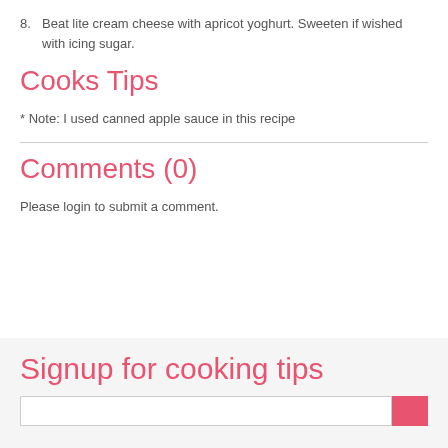8. Beat lite cream cheese with apricot yoghurt. Sweeten if wished with icing sugar.
Cooks Tips
* Note: I used canned apple sauce in this recipe
Comments (0)
Please login to submit a comment.
Signup for cooking tips